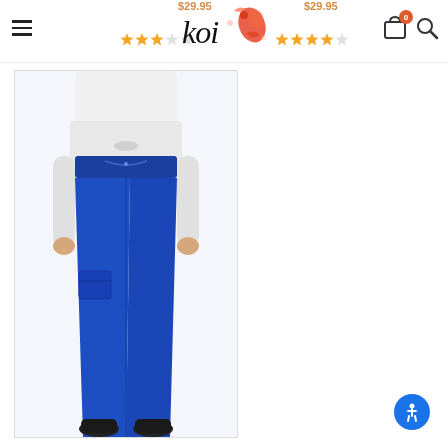Koi scrubs website header with logo, hamburger menu, cart (0), and search icon
[Figure (photo): Person wearing royal blue medical scrub pants with drawstring waist and cargo pocket detail, paired with white long-sleeve undershirt and black shoes, shown from waist down]
[Figure (logo): Koi brand logo with stylized koi fish and floral design in red and black script]
[Figure (infographic): Accessibility button (blue circle with person icon) in bottom right corner]